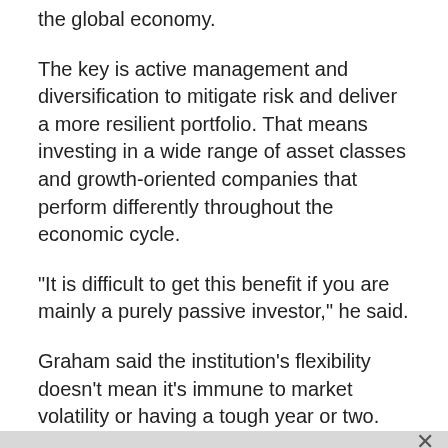the global economy.
The key is active management and diversification to mitigate risk and deliver a more resilient portfolio. That means investing in a wide range of asset classes and growth-oriented companies that perform differently throughout the economic cycle.
"It is difficult to get this benefit if you are mainly a purely passive investor," he said.
Graham said the institution's flexibility doesn't mean it's immune to market volatility or having a tough year or two.